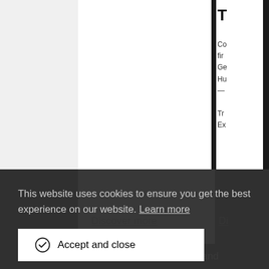[Figure (screenshot): Partial view of Australian Museum website with white card areas showing 'Discover more' links and partial right-side text content including truncated title and body text]
Discover more
Di
This website uses cookies to ensure you get the best experience on our website. Learn more
Accept and close
The Australian Museum respects and